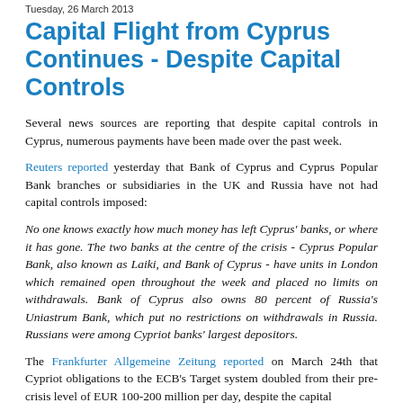Tuesday, 26 March 2013
Capital Flight from Cyprus Continues - Despite Capital Controls
Several news sources are reporting that despite capital controls in Cyprus, numerous payments have been made over the past week.
Reuters reported yesterday that Bank of Cyprus and Cyprus Popular Bank branches or subsidiaries in the UK and Russia have not had capital controls imposed:
No one knows exactly how much money has left Cyprus' banks, or where it has gone. The two banks at the centre of the crisis - Cyprus Popular Bank, also known as Laiki, and Bank of Cyprus - have units in London which remained open throughout the week and placed no limits on withdrawals. Bank of Cyprus also owns 80 percent of Russia's Uniastrum Bank, which put no restrictions on withdrawals in Russia. Russians were among Cypriot banks' largest depositors.
The Frankfurter Allgemeine Zeitung reported on March 24th that Cypriot obligations to the ECB's Target system doubled from their pre-crisis level of EUR 100-200 million per day, despite the capital